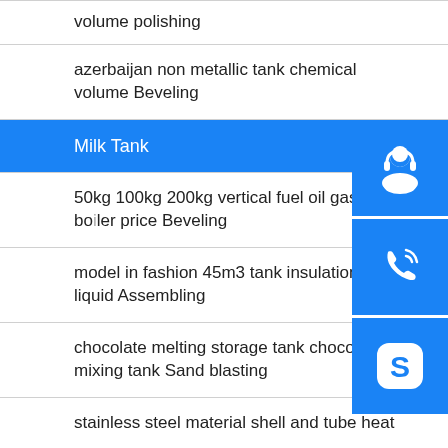volume polishing
azerbaijan non metallic tank chemical volume Beveling
Milk Tank
50kg 100kg 200kg vertical fuel oil gas steam boiler price Beveling
model in fashion 45m3 tank insulation oil liquid Assembling
chocolate melting storage tank chocolate mixing tank Sand blasting
stainless steel material shell and tube heat